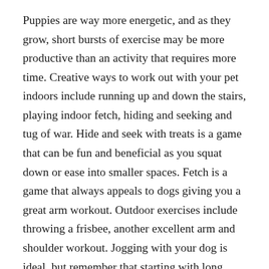Puppies are way more energetic, and as they grow, short bursts of exercise may be more productive than an activity that requires more time. Creative ways to work out with your pet indoors include running up and down the stairs, playing indoor fetch, hiding and seeking and tug of war. Hide and seek with treats is a game that can be fun and beneficial as you squat down or ease into smaller spaces. Fetch is a game that always appeals to dogs giving you a great arm workout. Outdoor exercises include throwing a frisbee, another excellent arm and shoulder workout. Jogging with your dog is ideal, but remember that starting with long distances may not be beneficial until your fur baby is acclimated to the distance. Take your dog swimming, biking, hiking, camping at a dog park, walking or jogging. Always be cognizant of the safety of your pet with outside activities, and be aware of pet etiquette. For safety reasons, carry a water bottle and a doggy bag for cleanups. Read rules about the beach and regulations for pet parks, and keep your pet on a leash. Avoid exercising with your dog in excessive heat, and know that